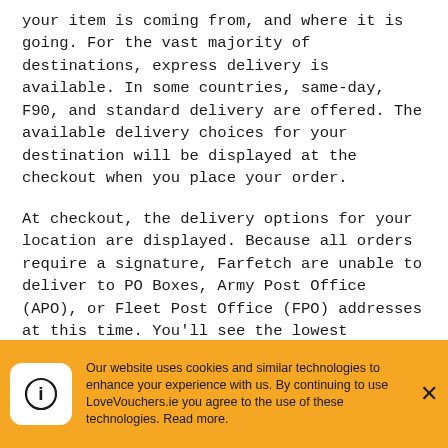your item is coming from, and where it is going. For the vast majority of destinations, express delivery is available. In some countries, same-day, F90, and standard delivery are offered. The available delivery choices for your destination will be displayed at the checkout when you place your order.
At checkout, the delivery options for your location are displayed. Because all orders require a signature, Farfetch are unable to deliver to PO Boxes, Army Post Office (APO), or Fleet Post Office (FPO) addresses at this time. You'll see the lowest delivery pricing for the products in your order during checkout.
Our website uses cookies and similar technologies to enhance your experience with us. By continuing to use LoveVouchers.ie you agree to the use of these technologies. Read more.